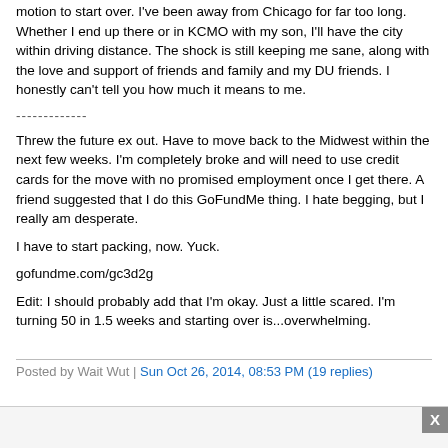motion to start over. I've been away from Chicago for far too long. Whether I end up there or in KCMO with my son, I'll have the city within driving distance. The shock is still keeping me sane, along with the love and support of friends and family and my DU friends. I honestly can't tell you how much it means to me.
-------------
Threw the future ex out. Have to move back to the Midwest within the next few weeks. I'm completely broke and will need to use credit cards for the move with no promised employment once I get there. A friend suggested that I do this GoFundMe thing. I hate begging, but I really am desperate.
I have to start packing, now. Yuck.
gofundme.com/gc3d2g
Edit: I should probably add that I'm okay. Just a little scared. I'm turning 50 in 1.5 weeks and starting over is...overwhelming.
Posted by Wait Wut | Sun Oct 26, 2014, 08:53 PM (19 replies)